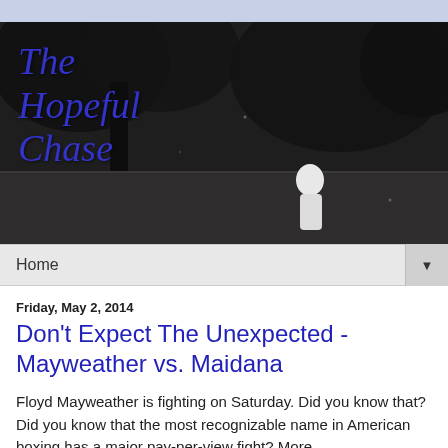[Figure (photo): Blog header image: dark/nighttime outdoor scene with trees and a figure in white, with the blog title 'The Hopeful Chase' overlaid in blue italic text]
Home
Friday, May 2, 2014
Don't Expect The Unexpected - Mayweather vs. Maidana
Floyd Mayweather is fighting on Saturday. Did you know that? Did you know that the most recognizable name in American boxing has a major pay-per-view fight? More